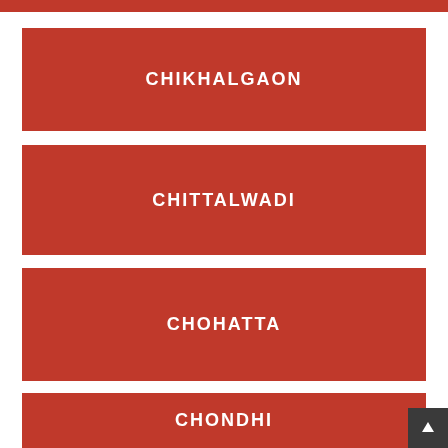CHIKHALGAON
CHITTALWADI
CHOHATTA
CHONDHI